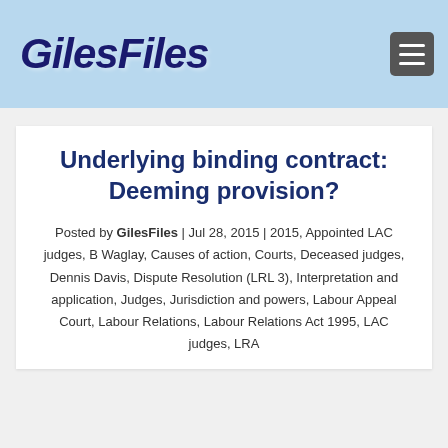GilesFiles
Underlying binding contract: Deeming provision?
Posted by GilesFiles | Jul 28, 2015 | 2015, Appointed LAC judges, B Waglay, Causes of action, Courts, Deceased judges, Dennis Davis, Dispute Resolution (LRL 3), Interpretation and application, Judges, Jurisdiction and powers, Labour Appeal Court, Labour Relations, Labour Relations Act 1995, LAC judges, LRA